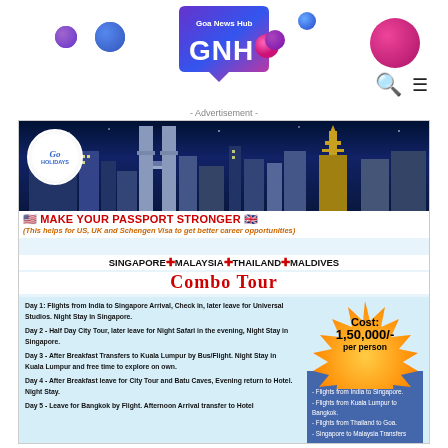[Figure (logo): Goa News Hub GNH logo with colorful speech bubble and decorative circles]
- Advertisement -
[Figure (photo): City skyline at night with Kuala Lumpur Petronas towers and Bangkok Wat Arun temple]
🇺🇸 MAKE YOUR PASSPORT STRONGER 🇬🇧
(This helps for US, UK and Schengen Visa to get better career opportunities)
SINGAPORE ✚ MALAYSIA ✚ THAILAND ✚ MALDIVES
Combo Tour
Day 1: Flights from India to Singapore Arrival, Check in, later leave for Universal Studios. Night Stay in Singapore.
Day 2 - Half Day City Tour, later leave for Night Safari in the evening, Night Stay in Singapore.
Day 3 - After Breakfast Transfers to Kuala Lumpur by Bus/Flight. Night Stay in Kuala Lumpur and free time to explore on own.
Day 4 - After Breakfast leave for City Tour and Batu Caves, Evening return to Hotel. Night Stay.
Day 5 - Leave for Bangkok by Flight. Afternoon Arrival transfer to Hotel
Cost: 1,50,000/- per person
Includes
- Flights from India to Singapore.
- Flights from Kuala Lumpur to Bangkok.
- Flights from Thailand to Goa.
- Singapore to Malaysia Transfers